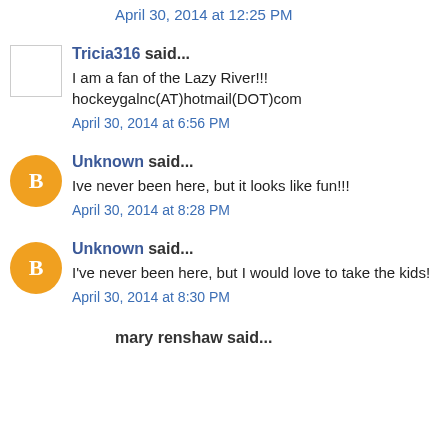April 30, 2014 at 12:25 PM
Tricia316 said...
I am a fan of the Lazy River!!! hockeygalnc(AT)hotmail(DOT)com
April 30, 2014 at 6:56 PM
Unknown said...
Ive never been here, but it looks like fun!!!
April 30, 2014 at 8:28 PM
Unknown said...
I've never been here, but I would love to take the kids!
April 30, 2014 at 8:30 PM
mary renshaw said...